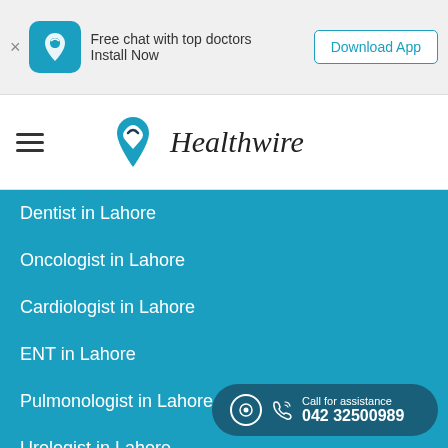[Figure (screenshot): App banner with Healthwire icon, text 'Free chat with top doctors Install Now', and Download App button]
[Figure (logo): Healthwire logo with teal heart/location pin icon and italic Healthwire text]
Dentist in Lahore
Oncologist in Lahore
Cardiologist in Lahore
ENT in Lahore
Pulmonologist in Lahore
Urologist in Lahore
Pediatrician in Lahore
Plastic-surgeon in Lahore
Psychiatrist in Lahore
Ophthalmologist in Lahore
Gynecologist in Karachi
Dermatologist in Karachi
General-physician in Karachi
Call for assistance
042 32500989